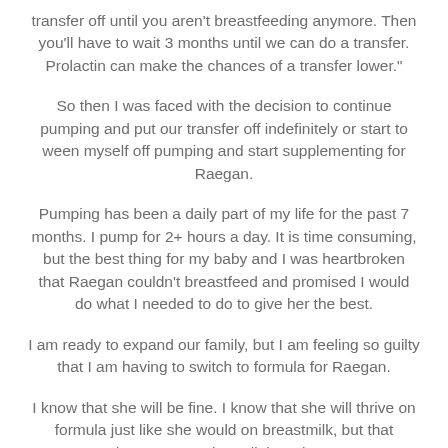transfer off until you aren't breastfeeding anymore. Then you'll have to wait 3 months until we can do a transfer. Prolactin can make the chances of a transfer lower."
So then I was faced with the decision to continue pumping and put our transfer off indefinitely or start to ween myself off pumping and start supplementing for Raegan.
Pumping has been a daily part of my life for the past 7 months. I pump for 2+ hours a day. It is time consuming, but the best thing for my baby and I was heartbroken that Raegan couldn't breastfeed and promised I would do what I needed to do to give her the best.
I am ready to expand our family, but I am feeling so guilty that I am having to switch to formula for Raegan.
I know that she will be fine. I know that she will thrive on formula just like she would on breastmilk, but that doesn't mean the guilt isn't there.
So we have decided I am going to slowly ween off of